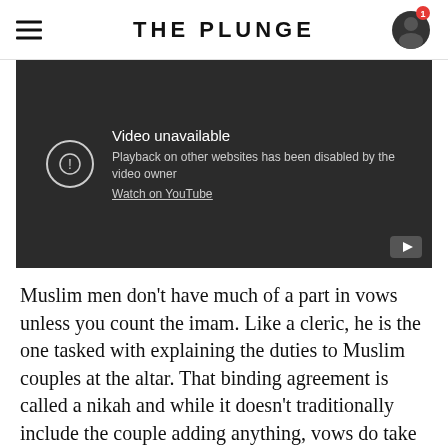THE PLUNGE
[Figure (screenshot): Embedded video player showing 'Video unavailable' message. Text reads: 'Playback on other websites has been disabled by the video owner. Watch on YouTube']
Muslim men don't have much of a part in vows unless you count the imam. Like a cleric, he is the one tasked with explaining the duties to Muslim couples at the altar. That binding agreement is called a nikah and while it doesn't traditionally include the couple adding anything, vows do take place in the bride's recitation of